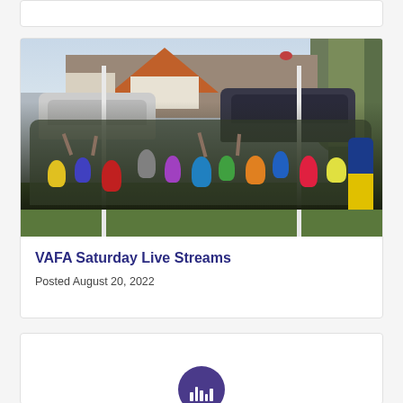[Figure (photo): Crowd of people celebrating at an Australian rules football match, with goal posts visible, cars parked in background, and houses with orange roofs behind trees. A football is visible in the air.]
VAFA Saturday Live Streams
Posted August 20, 2022
[Figure (photo): Partially visible card at bottom showing a purple circular logo/icon]